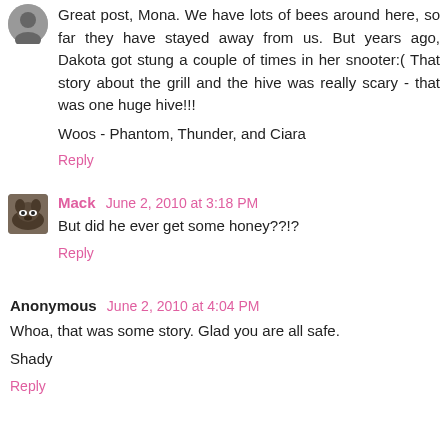Great post, Mona. We have lots of bees around here, so far they have stayed away from us. But years ago, Dakota got stung a couple of times in her snooter:( That story about the grill and the hive was really scary - that was one huge hive!!!
Woos - Phantom, Thunder, and Ciara
Reply
Mack June 2, 2010 at 3:18 PM
But did he ever get some honey??!?
Reply
Anonymous June 2, 2010 at 4:04 PM
Whoa, that was some story. Glad you are all safe.
Shady
Reply